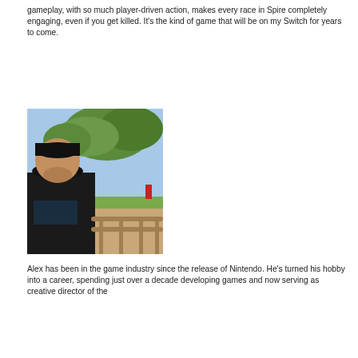gameplay, with so much player-driven action, makes every race in Spire completely engaging, even if you get killed. It's the kind of game that will be on my Switch for years to come.
[Figure (photo): Outdoor photo of a man wearing a black cap and black t-shirt, leaning over a fence or railing at what appears to be a park or zoo, with trees and blue sky visible in the background.]
Alex has been in the game industry since the release of Nintendo. He's turned his hobby into a career, spending just over a decade developing games and now serving as creative director of the